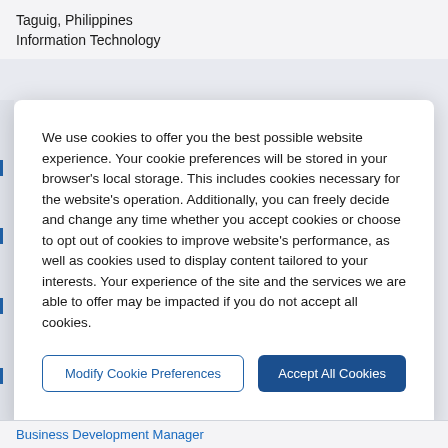Taguig, Philippines
Information Technology
We use cookies to offer you the best possible website experience. Your cookie preferences will be stored in your browser's local storage. This includes cookies necessary for the website's operation. Additionally, you can freely decide and change any time whether you accept cookies or choose to opt out of cookies to improve website's performance, as well as cookies used to display content tailored to your interests. Your experience of the site and the services we are able to offer may be impacted if you do not accept all cookies.
Modify Cookie Preferences
Accept All Cookies
Business Development Manager